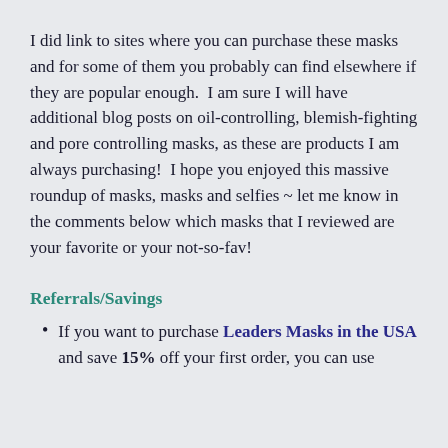I did link to sites where you can purchase these masks and for some of them you probably can find elsewhere if they are popular enough.  I am sure I will have additional blog posts on oil-controlling, blemish-fighting and pore controlling masks, as these are products I am always purchasing!  I hope you enjoyed this massive roundup of masks, masks and selfies ~ let me know in the comments below which masks that I reviewed are your favorite or your not-so-fav!
Referrals/Savings
If you want to purchase Leaders Masks in the USA and save 15% off your first order, you can use